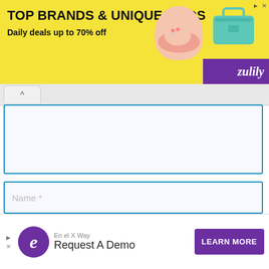[Figure (other): Zulily advertisement banner: TOP BRANDS & UNIQUE FINDS, Daily deals up to 70% off, with images of shoes and a teal handbag and Zulily logo]
Name *
Email *
Website
Save my name, email, and website in this browser for the next time I comment.
[Figure (other): Enel X Way advertisement: Request A Demo, Learn More button]